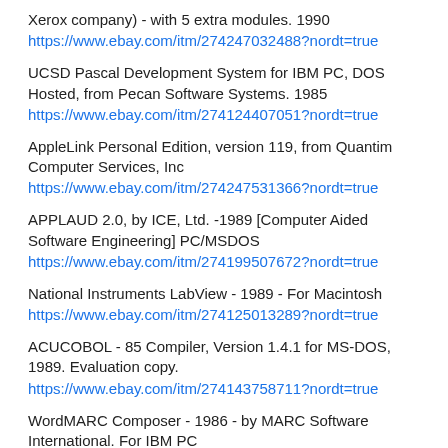Xerox company) - with 5 extra modules. 1990
https://www.ebay.com/itm/274247032488?nordt=true
UCSD Pascal Development System for IBM PC, DOS Hosted, from Pecan Software Systems. 1985
https://www.ebay.com/itm/274124407051?nordt=true
AppleLink Personal Edition, version 119, from Quantim Computer Services, Inc
https://www.ebay.com/itm/274247531366?nordt=true
APPLAUD 2.0, by ICE, Ltd. -1989 [Computer Aided Software Engineering] PC/MSDOS
https://www.ebay.com/itm/274199507672?nordt=true
National Instruments LabView - 1989 - For Macintosh
https://www.ebay.com/itm/274125013289?nordt=true
ACUCOBOL - 85 Compiler, Version 1.4.1 for MS-DOS, 1989. Evaluation copy.
https://www.ebay.com/itm/274143758711?nordt=true
WordMARC Composer - 1986 - by MARC Software International. For IBM PC